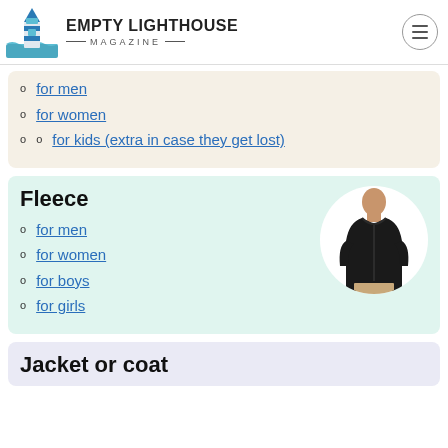Empty Lighthouse Magazine
for men
for women
for kids (extra in case they get lost)
Fleece
for men
for women
for boys
for girls
[Figure (photo): Man wearing black fleece jacket]
Jacket or coat